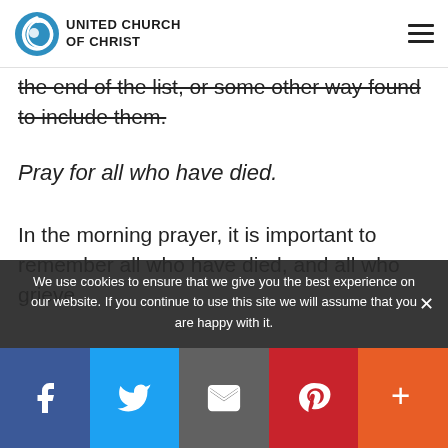UNITED CHURCH OF CHRIST
the end of the list, or some other way found to include them.
Pray for all who have died.
In the morning prayer, it is important to remember all who have died, and all who grieve
We use cookies to ensure that we give you the best experience on our website. If you continue to use this site we will assume that you are happy with it.
Facebook Twitter Email Pinterest More